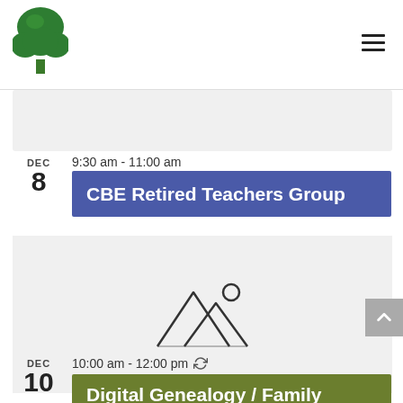[Figure (logo): Green tree logo in top left header]
9:30 am - 11:00 am
CBE Retired Teachers Group
[Figure (illustration): Placeholder image icon showing mountains and sun outline]
10:00 am - 12:00 pm
Digital Genealogy / Family